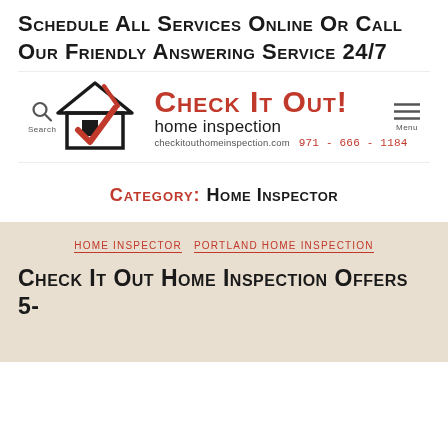Schedule All services online or call our friendly answering service 24/7
[Figure (logo): Check It Out! Home Inspection logo with house and checkmark icon, website checkitouthomeinspection.com and phone 971-666-1184, with Search and Menu navigation icons]
Category: Home Inspector
HOME INSPECTOR   PORTLAND HOME INSPECTION
Check It Out Home Inspection Offers 5-